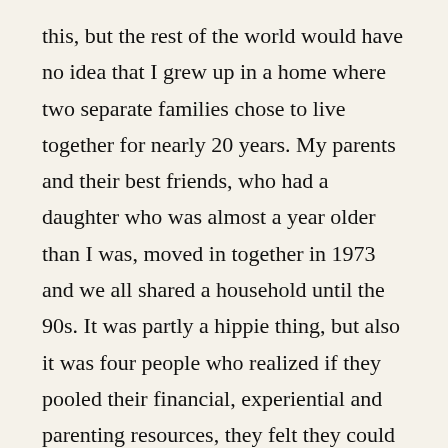this, but the rest of the world would have no idea that I grew up in a home where two separate families chose to live together for nearly 20 years. My parents and their best friends, who had a daughter who was almost a year older than I was, moved in together in 1973 and we all shared a household until the 90s. It was partly a hippie thing, but also it was four people who realized if they pooled their financial, experiential and parenting resources, they felt they could live a better life together than apart. And yes, someday I need to write about it, but I haven't decided what's the right way to do it.